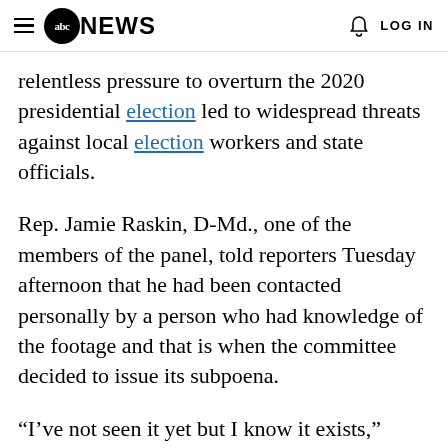abc NEWS  LOG IN
relentless pressure to overturn the 2020 presidential election led to widespread threats against local election workers and state officials.
Rep. Jamie Raskin, D-Md., one of the members of the panel, told reporters Tuesday afternoon that he had been contacted personally by a person who had knowledge of the footage and that is when the committee decided to issue its subpoena.
“I’ve not seen it yet but I know it exists,” Raskin said.